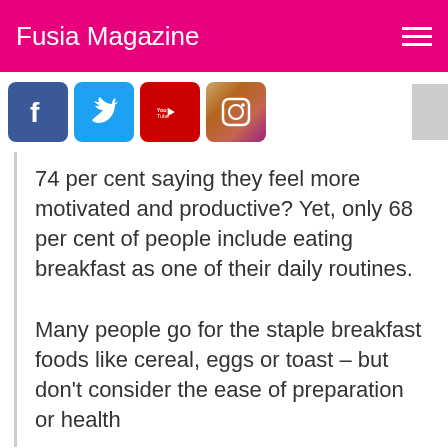Fusia Magazine
74 per cent saying they feel more motivated and productive? Yet, only 68 per cent of people include eating breakfast as one of their daily routines.
Many people go for the staple breakfast foods like cereal, eggs or toast – but don't consider the ease of preparation or health